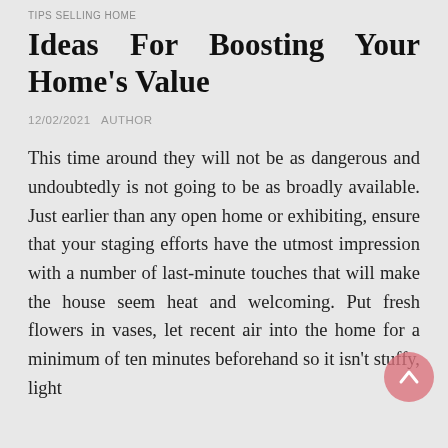TIPS SELLING HOME
Ideas For Boosting Your Home's Value
12/02/2021   AUTHOR
This time around they will not be as dangerous and undoubtedly is not going to be as broadly available. Just earlier than any open home or exhibiting, ensure that your staging efforts have the utmost impression with a number of last-minute touches that will make the house seem heat and welcoming. Put fresh flowers in vases, let recent air into the home for a minimum of ten minutes beforehand so it isn't stuffy, light